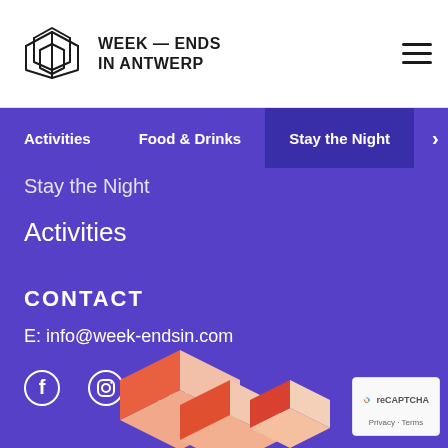WEEK — ENDS IN ANTWERP
Activities
Food & Drinks
Stay the Night
Stay the Night
Activities
CONTACT
E: info@week-endsin.com
[Figure (illustration): Social media icons: Facebook, Instagram, Pinterest]
[Figure (illustration): Decorative 3D isometric logo graphic at bottom]
[Figure (logo): Google reCAPTCHA badge with Privacy and Terms links]